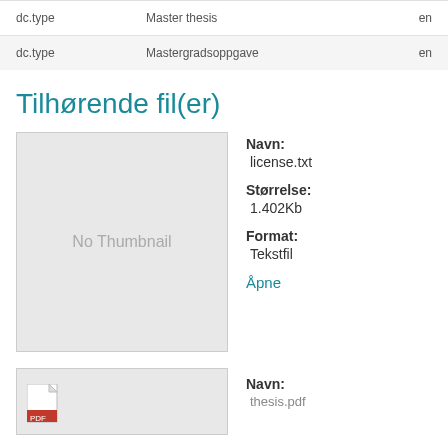| Field | Value | Lang |
| --- | --- | --- |
| dc.type | Master thesis | en |
| dc.type | Mastergradsoppgave | en |
Tilhørende fil(er)
[Figure (other): No Thumbnail placeholder box for license.txt file]
Navn: license.txt
Størrelse: 1.402Kb
Format: Tekstfil
Åpne
[Figure (other): Partial thumbnail preview for thesis.pdf file]
Navn: thesis.pdf